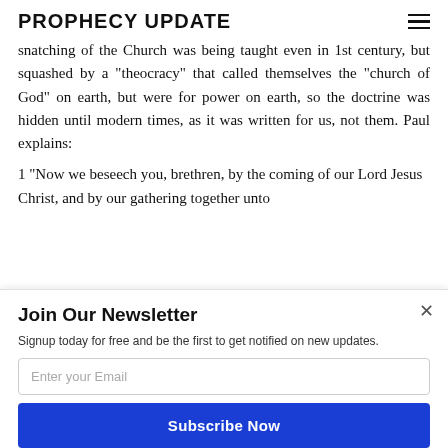PROPHECY UPDATE
snatching of the Church was being taught even in 1st century, but squashed by a “theocracy” that called themselves the “church of God” on earth, but were for power on earth, so the doctrine was hidden until modern times, as it was written for us, not them. Paul explains:
1 "Now we beseech you, brethren, by the coming of our Lord Jesus Christ, and by our gathering together unto
Join Our Newsletter
Signup today for free and be the first to get notified on new updates.
Enter your Email
Subscribe Now